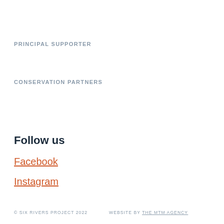PRINCIPAL SUPPORTER
CONSERVATION PARTNERS
Follow us
Facebook
Instagram
© SIX RIVERS PROJECT 2022    WEBSITE BY THE MTM AGENCY